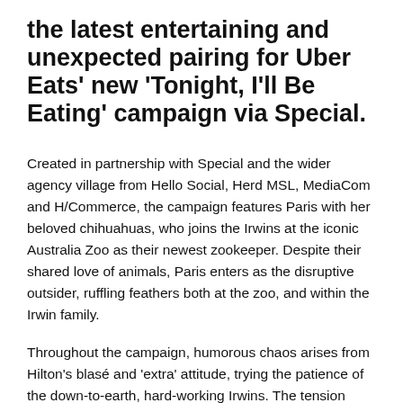the latest entertaining and unexpected pairing for Uber Eats' new 'Tonight, I'll Be Eating' campaign via Special.
Created in partnership with Special and the wider agency village from Hello Social, Herd MSL, MediaCom and H/Commerce, the campaign features Paris with her beloved chihuahuas, who joins the Irwins at the iconic Australia Zoo as their newest zookeeper. Despite their shared love of animals, Paris enters as the disruptive outsider, ruffling feathers both at the zoo, and within the Irwin family.
Throughout the campaign, humorous chaos arises from Hilton's blasé and 'extra' attitude, trying the patience of the down-to-earth, hard-working Irwins. The tension begins with Hilton's eye-opening introduction to zoo life when one of her chihuahuas